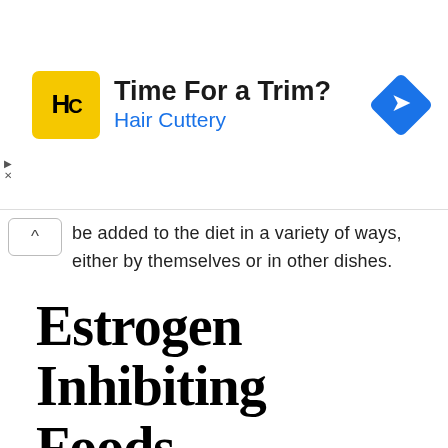[Figure (other): Hair Cuttery advertisement banner with yellow square logo showing 'HC', headline 'Time For a Trim?' and subtext 'Hair Cuttery', with a blue diamond arrow icon on the right]
be added to the diet in a variety of ways, either by themselves or in other dishes.
Estrogen Inhibiting Foods
Privacy & Cookies: This site uses cookies. By continuing to use this website, you agree to their use.
To find out more, including how to control cookies, see here: Cookie Policy
Close and accept